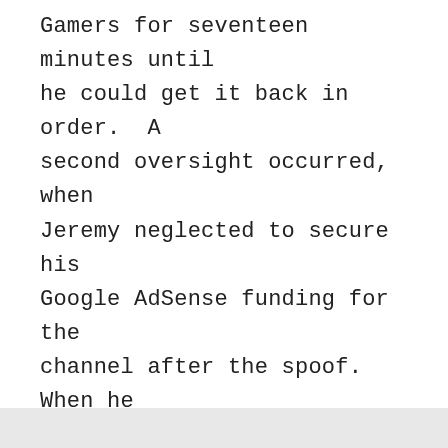Gamers for seventeen minutes until he could get it back in order. A second oversight occurred, when Jeremy neglected to secure his Google AdSense funding for the channel after the spoof. When he realized that an entire month's worth of monies designated for Geeks + Gamers was stolen, he finally revealed what happened: My
Privacy & Cookies: This site uses cookies. By continuing to use this website, you agree to their use. To find out more, including how to control cookies, see here: Cookie Policy
Close and accept